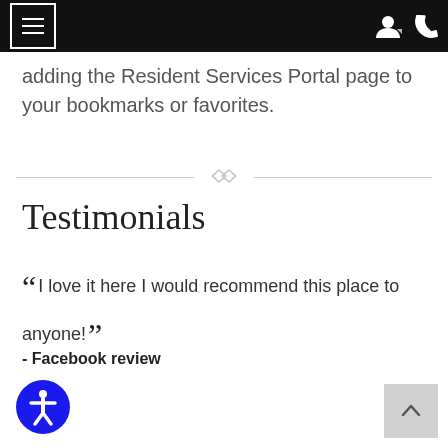Navigation bar with hamburger menu and user/phone icons
adding the Resident Services Portal page to your bookmarks or favorites.
Testimonials
“I love it here I would recommend this place to anyone!”
- Facebook review